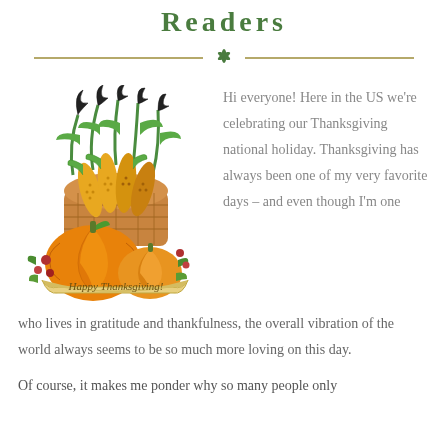Readers
[Figure (illustration): Happy Thanksgiving illustration with a basket of corn, pumpkins, flowers, and a banner reading 'Happy Thanksgiving!']
Hi everyone! Here in the US we're celebrating our Thanksgiving national holiday. Thanksgiving has always been one of my very favorite days – and even though I'm one who lives in gratitude and thankfulness, the overall vibration of the world always seems to be so much more loving on this day.
Of course, it makes me ponder why so many people only